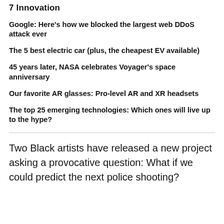7  Innovation
Google: Here's how we blocked the largest web DDoS attack ever
The 5 best electric car (plus, the cheapest EV available)
45 years later, NASA celebrates Voyager's space anniversary
Our favorite AR glasses: Pro-level AR and XR headsets
The top 25 emerging technologies: Which ones will live up to the hype?
Two Black artists have released a new project asking a provocative question: What if we could predict the next police shooting?